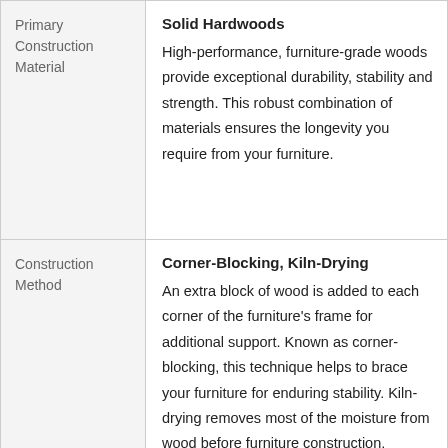|  |  |
| --- | --- |
| Primary Construction Material | Solid Hardwoods
High-performance, furniture-grade woods provide exceptional durability, stability and strength. This robust combination of materials ensures the longevity you require from your furniture. |
| Construction Method | Corner-Blocking, Kiln-Drying
An extra block of wood is added to each corner of the furniture's frame for additional support. Known as corner-blocking, this technique helps to brace your furniture for enduring stability. Kiln-drying removes most of the moisture from wood before furniture construction, preventing warping and splitting |